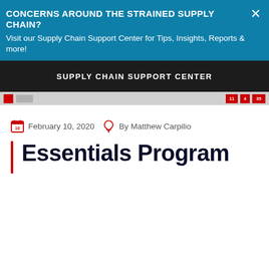CONCERNS AROUND THE STRAINED SUPPLY CHAIN?
Visit our Supply Chain Support Center for Tips, Insights, Reports & more!
SUPPLY CHAIN SUPPORT CENTER
February 10, 2020   By Matthew Carpilio
Essentials Program